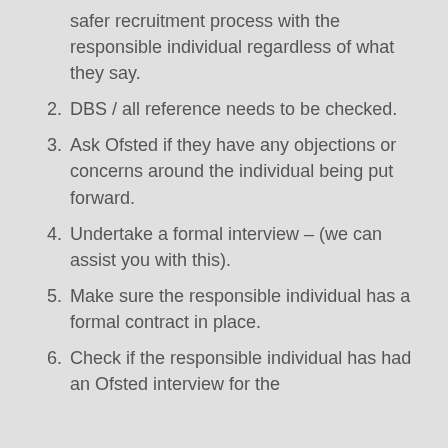safer recruitment process with the responsible individual regardless of what they say.
2. DBS / all reference needs to be checked.
3. Ask Ofsted if they have any objections or concerns around the individual being put forward.
4. Undertake a formal interview – (we can assist you with this).
5. Make sure the responsible individual has a formal contract in place.
6. Check if the responsible individual has had an Ofsted interview for the